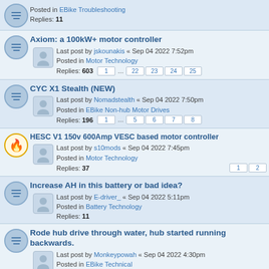Posted in EBike Troubleshooting
Replies: 11
Axiom: a 100kW+ motor controller
Last post by jskounakis « Sep 04 2022 7:52pm
Posted in Motor Technology
Replies: 603
CYC X1 Stealth (NEW)
Last post by Nomadstealth « Sep 04 2022 7:50pm
Posted in EBike Non-hub Motor Drives
Replies: 196
HESC V1 150v 600Amp VESC based motor controller
Last post by s10mods « Sep 04 2022 7:45pm
Posted in Motor Technology
Replies: 37
Increase AH in this battery or bad idea?
Last post by E-driver_ « Sep 04 2022 5:11pm
Posted in Battery Technology
Replies: 11
Rode hub drive through water, hub started running backwards.
Last post by Monkeypowah « Sep 04 2022 4:30pm
Posted in EBike Technical
Replies: 3
Yamaha YZ250F
Last post by tylerwatts « Sep 04 2022 3:40pm